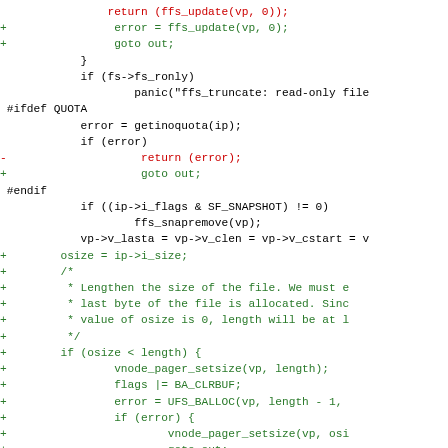[Figure (screenshot): A code diff showing C source code with red removed lines and green added lines in a diff format, showing ffs_truncate function modifications]